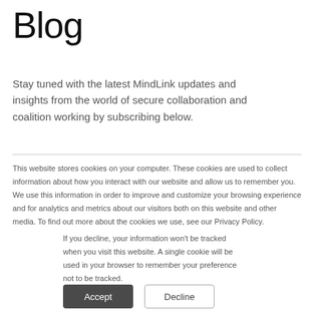Blog
Stay tuned with the latest MindLink updates and insights from the world of secure collaboration and coalition working by subscribing below.
This website stores cookies on your computer. These cookies are used to collect information about how you interact with our website and allow us to remember you. We use this information in order to improve and customize your browsing experience and for analytics and metrics about our visitors both on this website and other media. To find out more about the cookies we use, see our Privacy Policy.
If you decline, your information won't be tracked when you visit this website. A single cookie will be used in your browser to remember your preference not to be tracked.
Accept   Decline